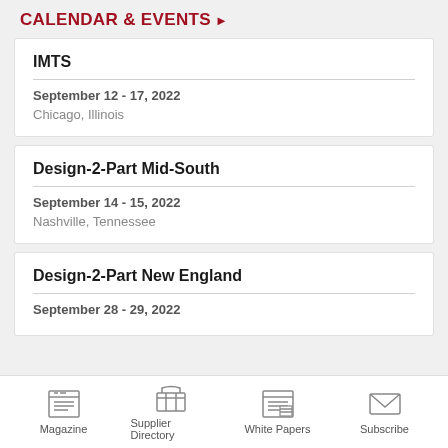CALENDAR & EVENTS ▶
IMTS
September 12 - 17, 2022
Chicago, Illinois
Design-2-Part Mid-South
September 14 - 15, 2022
Nashville, Tennessee
Design-2-Part New England
September 28 - 29, 2022
Magazine | Supplier Directory | White Papers | Subscribe